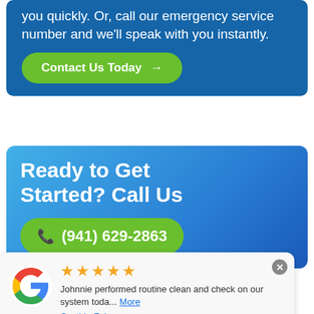you quickly. Or, call our emergency service number and we'll speak with you instantly.
Contact Us Today →
Ready to Get Started? Call Us
(941) 629-2863
★★★★★ Johnnie performed routine clean and check on our system toda... More — Cynthia Foley